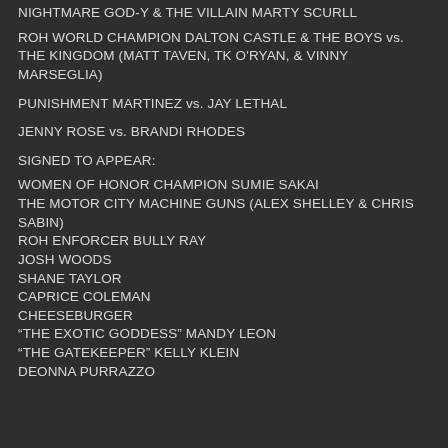NIGHTMARE GOD-Y & THE VILLAIN MARTY SCURLL
ROH WORLD CHAMPION DALTON CASTLE & THE BOYS vs. THE KINGDOM (MATT TAVEN, TK O'RYAN, & VINNY MARSEGLIA)
PUNISHMENT MARTINEZ vs. JAY LETHAL
JENNY ROSE vs. BRANDI RHODES
SIGNED TO APPEAR:
WOMEN OF HONOR CHAMPION SUMIE SAKAI
THE MOTOR CITY MACHINE GUNS (ALEX SHELLEY & CHRIS SABIN)
ROH ENFORCER BULLY RAY
JOSH WOODS
SHANE TAYLOR
CAPRICE COLEMAN
CHEESEBURGER
“THE EXOTIC GODDESS” MANDY LEON
“THE GATEKEEPER” KELLY KLEIN
DEONNA PURRAZZO